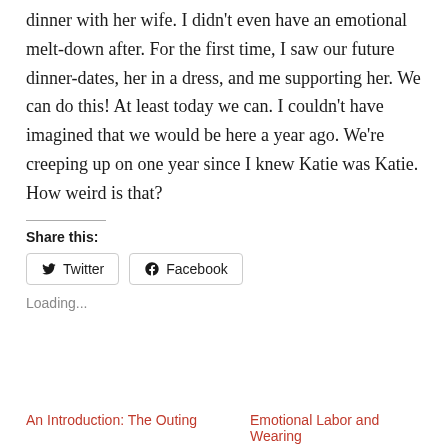dinner with her wife. I didn't even have an emotional melt-down after. For the first time, I saw our future dinner-dates, her in a dress, and me supporting her. We can do this! At least today we can. I couldn't have imagined that we would be here a year ago. We're creeping up on one year since I knew Katie was Katie. How weird is that?
Share this:
Twitter   Facebook
Loading...
An Introduction: The Outing
Emotional Labor and Wearing